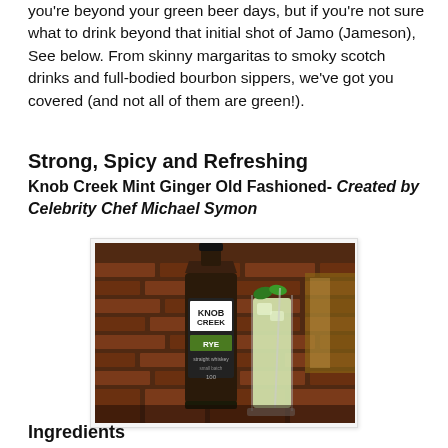you're beyond your green beer days, but if you're not sure what to drink beyond that initial shot of Jamo (Jameson), See below. From skinny margaritas to smoky scotch drinks and full-bodied bourbon sippers, we've got you covered (and not all of them are green!).
Strong, Spicy and Refreshing
Knob Creek Mint Ginger Old Fashioned- Created by Celebrity Chef Michael Symon
[Figure (photo): A bottle of Knob Creek Rye Whiskey next to a tall glass of a pale green cocktail garnished with mint, set against a brick wall background.]
Ingredients
1 1⁄4 Parts Knob Creek Rye Whiskey